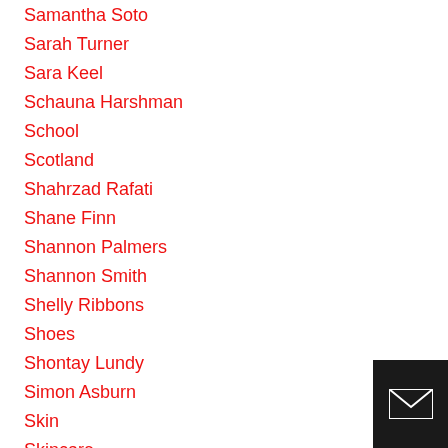Samantha Soto
Sarah Turner
Sara Keel
Schauna Harshman
School
Scotland
Shahrzad Rafati
Shane Finn
Shannon Palmers
Shannon Smith
Shelly Ribbons
Shoes
Shontay Lundy
Simon Asburn
Skin
Skincare
Sky Sports
Slimming World